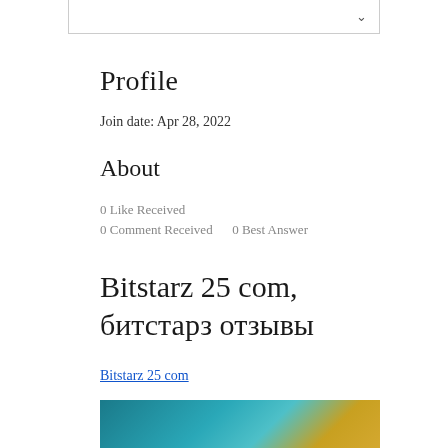Profile
Join date: Apr 28, 2022
About
0 Like Received
0 Comment Received    0 Best Answer
Bitstarz 25 com, битстарз отзывы
Bitstarz 25 com
[Figure (photo): Partial image visible at bottom of page, appears to be a banner or promotional image with teal/blue and gold tones]